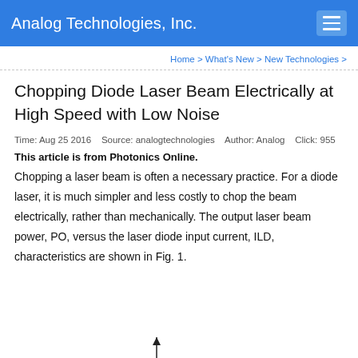Analog Technologies, Inc.
Home > What's New > New Technologies >
Chopping Diode Laser Beam Electrically at High Speed with Low Noise
Time: Aug 25 2016   Source: analogtechnologies   Author: Analog   Click: 955
This article is from Photonics Online.
Chopping a laser beam is often a necessary practice. For a diode laser, it is much simpler and less costly to chop the beam electrically, rather than mechanically. The output laser beam power, PO, versus the laser diode input current, ILD, characteristics are shown in Fig. 1.
[Figure (other): Partial view of a graph/figure (Fig. 1) showing laser beam characteristics, cropped at bottom of page]